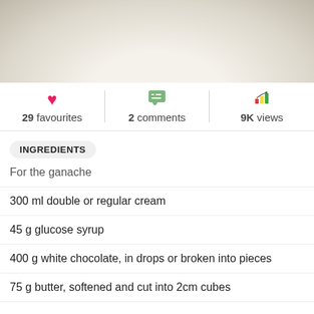[Figure (photo): Top portion of a white cake or dessert, close-up photo with soft cream background]
29 favourites | 2 comments | 9K views
INGREDIENTS
For the ganache
300 ml double or regular cream
45 g glucose syrup
400 g white chocolate, in drops or broken into pieces
75 g butter, softened and cut into 2cm cubes
For the cake
butter, softened for greasing
4 eggs